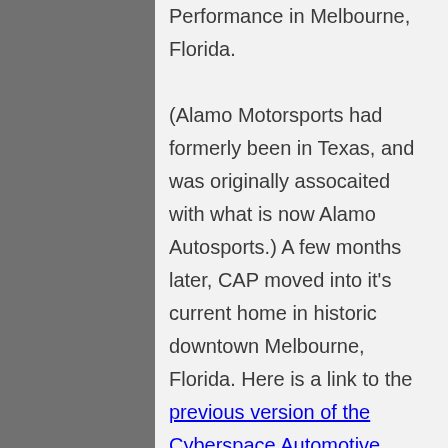Performance in Melbourne, Florida. (Alamo Motorsports had formerly been in Texas, and was originally assocaited with what is now Alamo Autosports.) A few months later, CAP moved into it's current home in historic downtown Melbourne, Florida. Here is a link to the previous version of the Cyberspace Automotive Performance website. CAP began to explore the benefits of other types of e-commerce